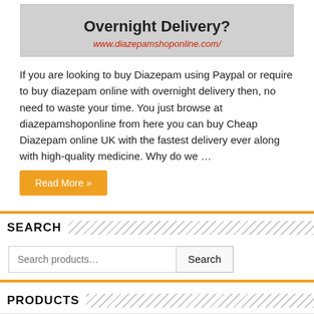[Figure (screenshot): Website banner showing 'Overnight Delivery?' text and www.diazepamshoponline.com/ URL]
If you are looking to buy Diazepam using Paypal or require to buy diazepam online with overnight delivery then, no need to waste your time. You just browse at diazepamshoponline from here you can buy Cheap Diazepam online UK with the fastest delivery ever along with high-quality medicine. Why do we …
Read More »
SEARCH
Search products…
PRODUCTS
Ivermectin
$180.00 – $1,199.00